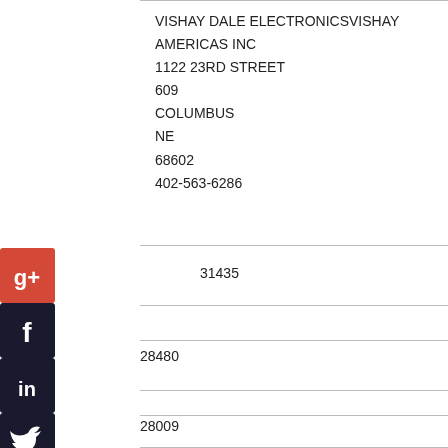VISHAY DALE ELECTRONICSVISHAY AMERICAS INC
1122 23RD STREET
609
COLUMBUS
NE
68602
402-563-6286
31435
28480
28009